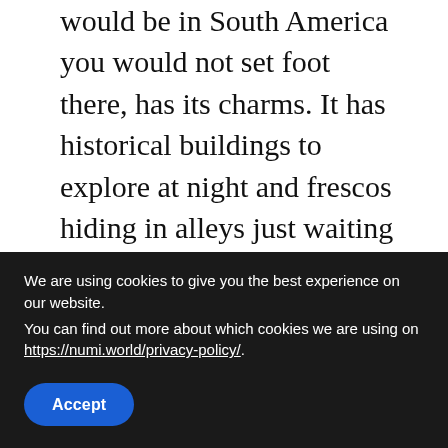would be in South America you would not set foot there, has its charms. It has historical buildings to explore at night and frescos hiding in alleys just waiting to be found. Quiet streets with one or two picturestic cafes and restaurants. A different world from the commercial street where the majority of Italians spend their time at night.
[Figure (photo): Partial view of an image strip showing a bluish-grey landscape or scene]
We are using cookies to give you the best experience on our website.
You can find out more about which cookies we are using on https://numi.world/privacy-policy/.